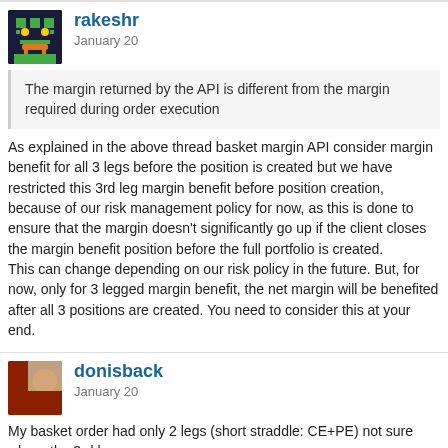rakeshr | January 20
The margin returned by the API is different from the margin required during order execution
As explained in the above thread basket margin API consider margin benefit for all 3 legs before the position is created but we have restricted this 3rd leg margin benefit before position creation, because of our risk management policy for now, as this is done to ensure that the margin doesn't significantly go up if the client closes the margin benefit position before the full portfolio is created.
This can change depending on our risk policy in the future. But, for now, only for 3 legged margin benefit, the net margin will be benefited after all 3 positions are created. You need to consider this at your end.
donisback | January 20
My basket order had only 2 legs (short straddle: CE+PE) not sure where the 3rd leg came.